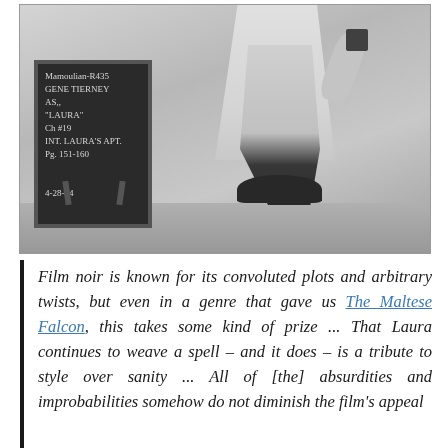[Figure (photo): Black and white photograph of Gene Tierney as Laura. A woman in a light-colored dress/coat stands next to a chalkboard slate. The chalkboard reads: 'Mamoulian-R435, Gene Tierney as Laura, Ch #19, INT. Laura's Apt., Pg. 151-160, 4-28-44'. The woman's lower body and legs are visible, wearing dark shoes.]
Film noir is known for its convoluted plots and arbitrary twists, but even in a genre that gave us The Maltese Falcon, this takes some kind of prize ... That Laura continues to weave a spell – and it does – is a tribute to style over sanity ... All of [the] absurdities and improbabilities somehow do not diminish the film's appeal